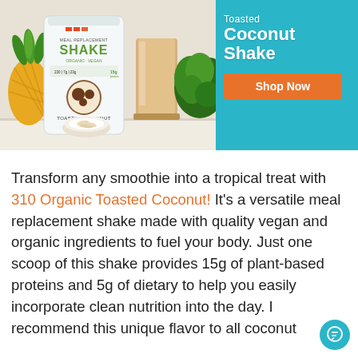[Figure (photo): Promotional banner for 310 Organic Toasted Coconut Meal Replacement Shake. Left side shows a product photo with a pineapple, a white bag of the shake, a glass of the shake, kale greens, and a small bowl of coconut on a light background. Right side has a teal/cyan background with white bold text reading 'Toasted Coconut Shake' and an orange 'Shop Now' button.]
Transform any smoothie into a tropical treat with 310 Organic Toasted Coconut! It's a versatile meal replacement shake made with quality vegan and organic ingredients to fuel your body. Just one scoop of this shake provides 15g of plant-based proteins and 5g of dietary to help you easily incorporate clean nutrition into the day. I recommend this unique flavor to all coconut